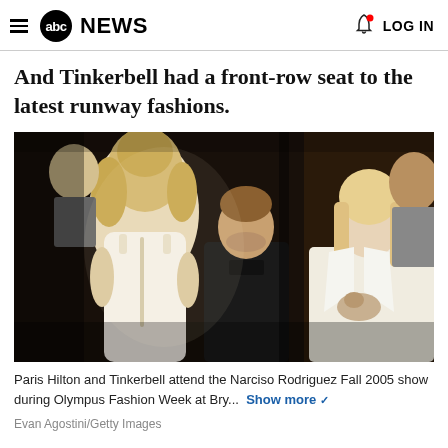abc NEWS   LOG IN
And Tinkerbell had a front-row seat to the latest runway fashions.
[Figure (photo): Paris Hilton sitting front row at a fashion show holding her dog Tinkerbell, with a man in a dark suit beside her and a model in a white dress standing with her back to the camera.]
Paris Hilton and Tinkerbell attend the Narciso Rodriguez Fall 2005 show during Olympus Fashion Week at Bry...   Show more
Evan Agostini/Getty Images